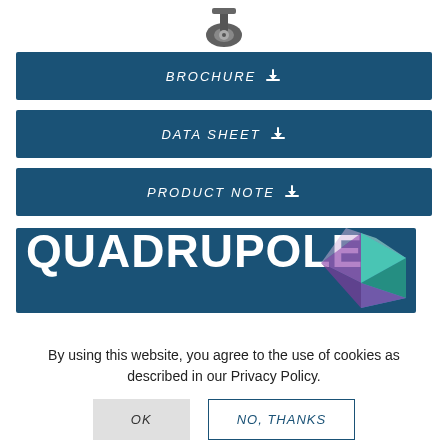[Figure (photo): Caster wheel product photo at top of page]
BROCHURE ↓
DATA SHEET ↓
PRODUCT NOTE ↓
[Figure (logo): Quadrupole banner with geometric gem graphic on dark blue background]
By using this website, you agree to the use of cookies as described in our Privacy Policy.
OK
NO, THANKS